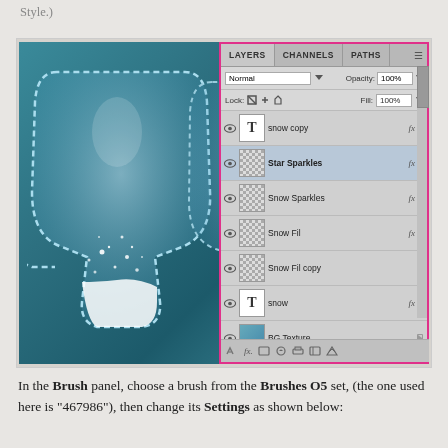Style.)
[Figure (screenshot): Photoshop interface showing a teal/blue background with glassy icy letter shapes and the Layers panel open on the right side. The Layers panel shows layers: snow copy, Star Sparkles (selected/highlighted), Snow Sparkles, Snow Fil, Snow Fil copy, snow, BG Texture. Normal blend mode, 100% Opacity and Fill.]
In the Brush panel, choose a brush from the Brushes O5 set, (the one used here is “467986”), then change its Settings as shown below: